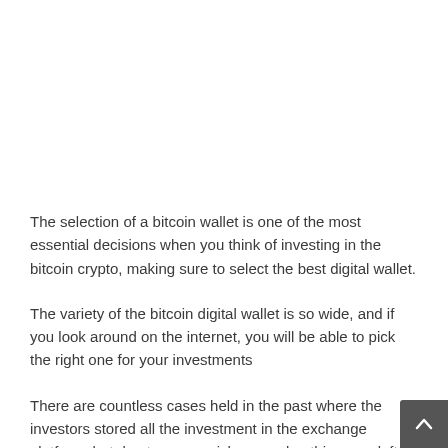The selection of a bitcoin wallet is one of the most essential decisions when you think of investing in the bitcoin crypto, making sure to select the best digital wallet.
The variety of the bitcoin digital wallet is so wide, and if you look around on the internet, you will be able to pick the right one for your investments
There are countless cases held in the past where the investors stored all the investment in the exchange platform, but due to some mishaps and nothing was left.